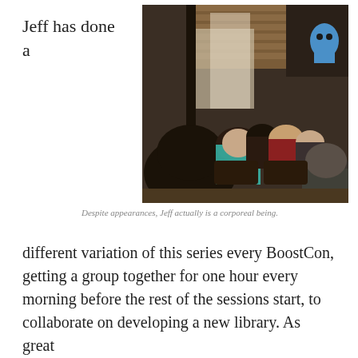Jeff has done a
[Figure (photo): Audience seated in a theater/auditorium viewed from behind, with a presenter at the front near a screen. People are seated in dark chairs. A blue mascot/figure is visible at the upper right near the stage.]
Despite appearances, Jeff actually is a corporeal being.
different variation of this series every BoostCon, getting a group together for one hour every morning before the rest of the sessions start, to collaborate on developing a new library. As great